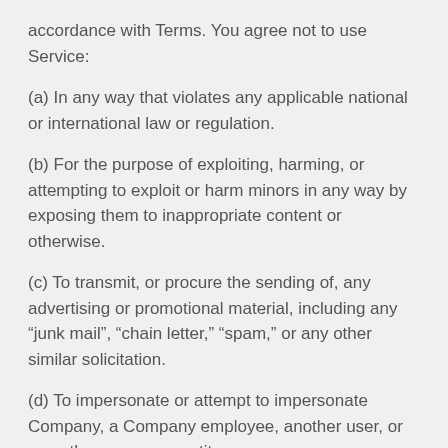accordance with Terms. You agree not to use Service:
(a) In any way that violates any applicable national or international law or regulation.
(b) For the purpose of exploiting, harming, or attempting to exploit or harm minors in any way by exposing them to inappropriate content or otherwise.
(c) To transmit, or procure the sending of, any advertising or promotional material, including any “junk mail”, “chain letter,” “spam,” or any other similar solicitation.
(d) To impersonate or attempt to impersonate Company, a Company employee, another user, or any other person or entity.
(e) In any way that infringes upon the rights of others, or